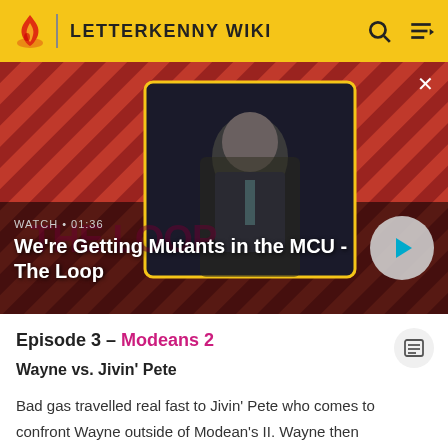LETTERKENNY WIKI
[Figure (screenshot): Video thumbnail showing a bald man in a suit seated in a chair, with a red diagonal-stripe background. Overlay text reads 'WATCH • 01:36' and title 'We're Getting Mutants in the MCU - The Loop'. Play button on right.]
Episode 3 – Modeans 2
Wayne vs. Jivin' Pete
Bad gas travelled real fast to Jivin' Pete who comes to confront Wayne outside of Modean's II. Wayne then